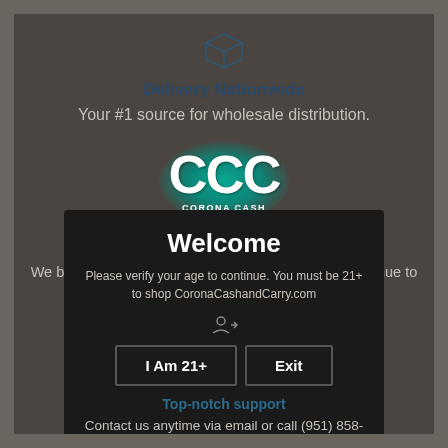[Figure (logo): Box/package icon outline in dark teal]
Delivery Nationwide
Your #1 source for wholesale distribution.
[Figure (logo): CCC - Corona Cash and Carry logo with teal glow background and white CCC letters]
Satisfaction is our Priority
We built our reputation on relationships & we will continue to ensure our customers know they are #1
Welcome
Please verify your age to continue. You must be 21+ to shop CoronaCashandCarry.com
Top-notch support
Contact us anytime via email or call (951) 858-1060